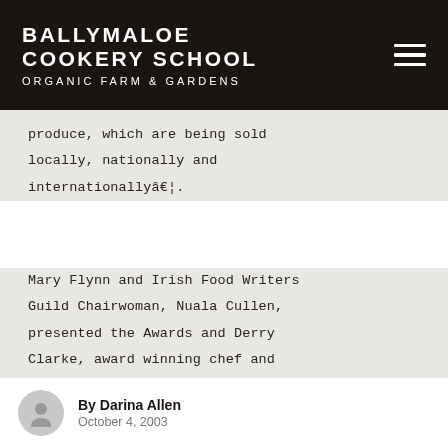BALLYMALOE COOKERY SCHOOL ORGANIC FARM & GARDENS
produce, which are being sold locally, nationally and internationallyâ¦.
Mary Flynn and Irish Food Writers Guild Chairwoman, Nuala Cullen, presented the Awards and Derry Clarke, award winning chef and patron of LâEcrivain, prepared a truly delicious six-course lunch for guests incorporating all of the
By Darina Allen
October 4, 2003